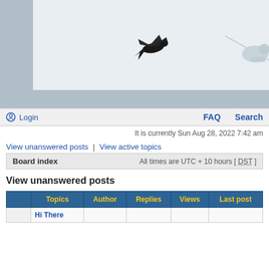[Figure (photo): Partial banner image showing a bird (possibly a swallow or swift) in flight against a light sky, with a cable or wire. White rectangle inset on grey background.]
Login
FAQ  Search
It is currently Sun Aug 28, 2022 7:42 am
View unanswered posts | View active topics
| Board index | All times are UTC + 10 hours [ DST ] |
| --- | --- |
View unanswered posts
|  | Topics | Author | Replies | Views | Last post |
| --- | --- | --- | --- | --- | --- |
|  | Hi There |  |  |  |  |